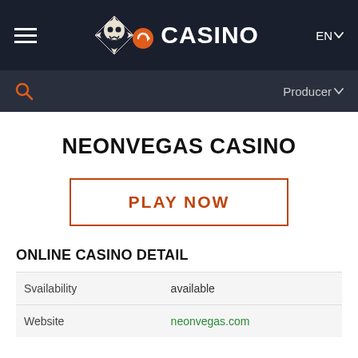[Figure (screenshot): Top navigation bar with hamburger menu, casino logo with skull icon and orange circle, CASINO text, and EN language selector]
[Figure (screenshot): Search bar row with orange search icon on left and Producer dropdown on right]
NEONVEGAS CASINO
PLAY NOW
ONLINE CASINO DETAIL
| Svailability | available |
| Website | neonvegas.com |